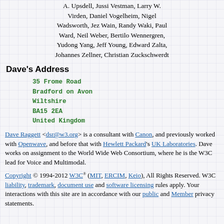A. Upsdell, Jussi Vestman, Larry W. Virden, Daniel Vogelheim, Nigel Wadsworth, Jez Wain, Randy Waki, Paul Ward, Neil Weber, Bertilo Wennergren, Yudong Yang, Jeff Young, Edward Zalta, Johannes Zellner, Christian Zuckschwerdt
Dave's Address
35 Frome Road
Bradford on Avon
Wiltshire
BA15 2EA
United Kingdom
Dave Raggett <dsr@w3.org> is a consultant with Canon, and previously worked with Openwave, and before that with Hewlett Packard's UK Laboratories. Dave works on assignment to the World Wide Web Consortium, where he is the W3C lead for Voice and Multimodal.
Copyright © 1994-2012 W3C® (MIT, ERCIM, Keio), All Rights Reserved. W3C liability, trademark, document use and software licensing rules apply. Your interactions with this site are in accordance with our public and Member privacy statements.